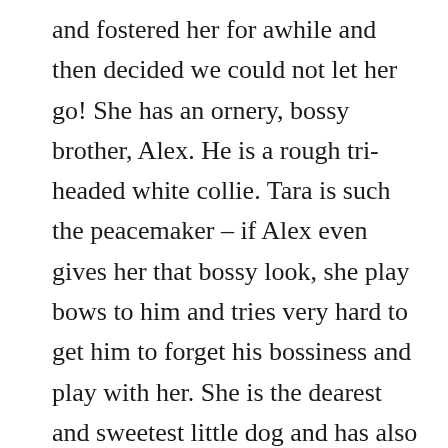and fostered her for awhile and then decided we could not let her go! She has an ornery, bossy brother, Alex. He is a rough tri-headed white collie. Tara is such the peacemaker – if Alex even gives her that bossy look, she play bows to him and tries very hard to get him to forget his bossiness and play with her. She is the dearest and sweetest little dog and has also gotten to the point of being very excited when we come home from work – she just yips and yips and runs and plays and is so happy to see us. She is also a very smart little girl like you Tatum and someday I hope we can take little Tara to at least a basic behavior class because she does not know how to sit. Tara's health has been great as far as we know and we were very